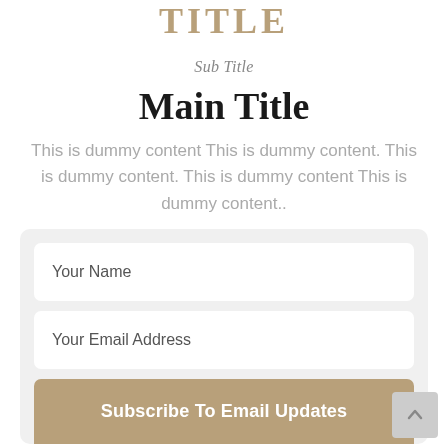TITLE
Sub Title
Main Title
This is dummy content This is dummy content. This is dummy content. This is dummy content This is dummy content..
Your Name
Your Email Address
Subscribe To Email Updates